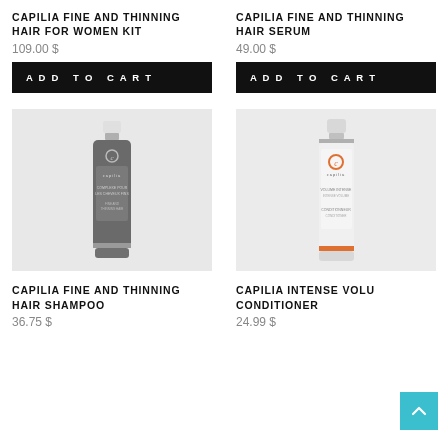CAPILIA FINE AND THINNING HAIR FOR WOMEN KIT
109.00 $
ADD TO CART
CAPILIA FINE AND THINNING HAIR SERUM
49.00 $
ADD TO CART
[Figure (photo): Capilia Fine and Thinning Hair Shampoo bottle — dark grey/charcoal pump bottle with white cap and Capilia branding on grey background]
[Figure (photo): Capilia Intense Volume Conditioner — white tall bottle with orange accent and Capilia branding on light grey background]
CAPILIA FINE AND THINNING HAIR SHAMPOO
36.75 $
CAPILIA INTENSE VOLUME CONDITIONER
24.99 $